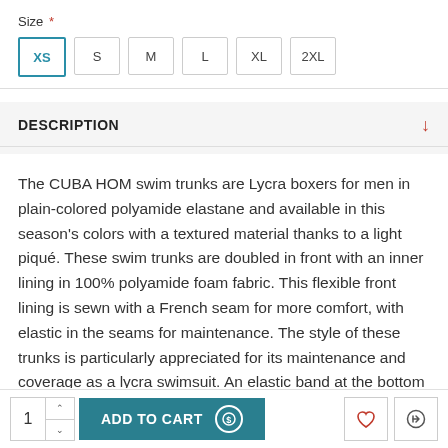Size *
XS  S  M  L  XL  2XL
DESCRIPTION
The CUBA HOM swim trunks are Lycra boxers for men in plain-colored polyamide elastane and available in this season's colors with a textured material thanks to a light piqué. These swim trunks are doubled in front with an inner lining in 100% polyamide foam fabric. This flexible front lining is sewn with a French seam for more comfort, with elastic in the seams for maintenance. The style of these trunks is particularly appreciated for its maintenance and coverage as a lycra swimsuit. An elastic band at the bottom of the leg firmly maintains